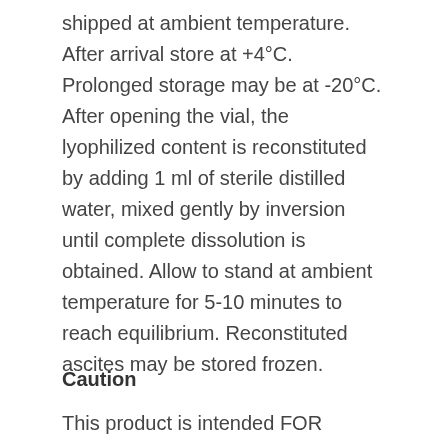shipped at ambient temperature. After arrival store at +4°C. Prolonged storage may be at -20°C. After opening the vial, the lyophilized content is reconstituted by adding 1 ml of sterile distilled water, mixed gently by inversion until complete dissolution is obtained. Allow to stand at ambient temperature for 5-10 minutes to reach equilibrium. Reconstituted ascites may be stored frozen.
Caution
This product is intended FOR